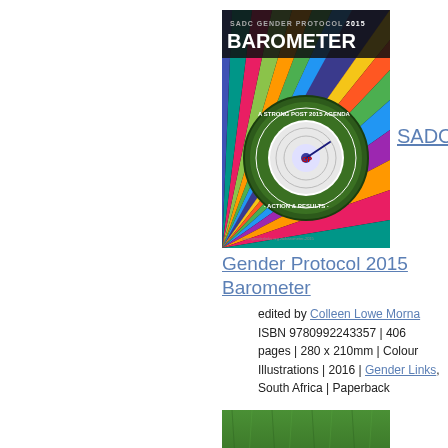[Figure (illustration): Book cover: SADC Gender Protocol 2015 Barometer, colorful radiating stripes with a circular barometer in the center, text 'A Strong Post 2015 Agenda · Action & Results']
SADC
Gender Protocol 2015 Barometer
edited by Colleen Lowe Morna
ISBN 9780992243357 | 406 pages | 280 x 210mm | Colour Illustrations | 2016 | Gender Links, South Africa | Paperback
[Figure (photo): Book cover: Pastoralism and... - green grass/pasture field background with 'PASTORALISM AND' text at bottom]